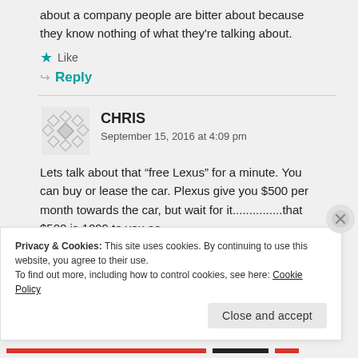about a company people are bitter about because they know nothing of what they're talking about.
★ Like
↩ Reply
CHRIS
September 15, 2016 at 4:09 pm
Lets talk about that "free Lexus" for a minute. You can buy or lease the car. Plexus give you $500 per month towards the car, but wait for it...............that $500 is 1099 to you as
Privacy & Cookies: This site uses cookies. By continuing to use this website, you agree to their use.
To find out more, including how to control cookies, see here: Cookie Policy
Close and accept